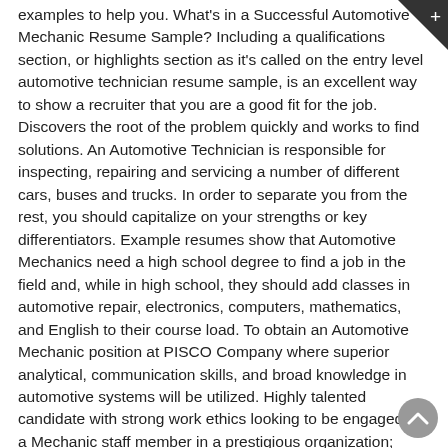examples to help you. What's in a Successful Automotive Mechanic Resume Sample? Including a qualifications section, or highlights section as it's called on the entry level automotive technician resume sample, is an excellent way to show a recruiter that you are a good fit for the job. Discovers the root of the problem quickly and works to find solutions. An Automotive Technician is responsible for inspecting, repairing and servicing a number of different cars, buses and trucks. In order to separate you from the rest, you should capitalize on your strengths or key differentiators. Example resumes show that Automotive Mechanics need a high school degree to find a job in the field and, while in high school, they should add classes in automotive repair, electronics, computers, mathematics, and English to their course load. To obtain an Automotive Mechanic position at PISCO Company where superior analytical, communication skills, and broad knowledge in automotive systems will be utilized. Highly talented candidate with strong work ethics looking to be engaged as a Mechanic staff member in a prestigious organization; coming with 5 years of experience and outstanding knowledge of repairing different automotive parts. Certified diesel mechani with 5 years industry experience seeks a position with SYS